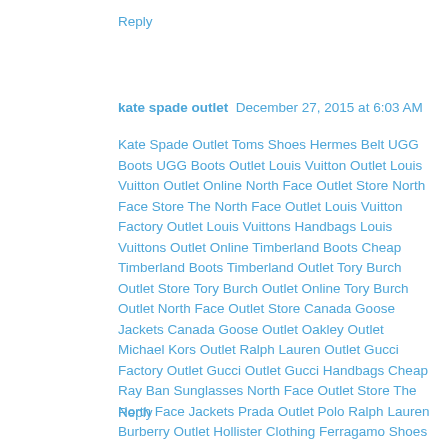Reply
kate spade outlet  December 27, 2015 at 6:03 AM
Kate Spade Outlet Toms Shoes Hermes Belt UGG Boots UGG Boots Outlet Louis Vuitton Outlet Louis Vuitton Outlet Online North Face Outlet Store North Face Store The North Face Outlet Louis Vuitton Factory Outlet Louis Vuittons Handbags Louis Vuittons Outlet Online Timberland Boots Cheap Timberland Boots Timberland Outlet Tory Burch Outlet Store Tory Burch Outlet Online Tory Burch Outlet North Face Outlet Store Canada Goose Jackets Canada Goose Outlet Oakley Outlet Michael Kors Outlet Ralph Lauren Outlet Gucci Factory Outlet Gucci Outlet Gucci Handbags Cheap Ray Ban Sunglasses North Face Outlet Store The North Face Jackets Prada Outlet Polo Ralph Lauren Burberry Outlet Hollister Clothing Ferragamo Shoes Tiffany Jewelry Tiffany Outlet NFL Jerseys
Reply